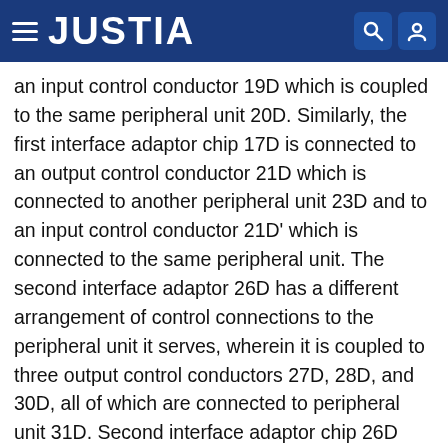JUSTIA
an input control conductor 19D which is coupled to the same peripheral unit 20D. Similarly, the first interface adaptor chip 17D is connected to an output control conductor 21D which is connected to another peripheral unit 23D and to an input control conductor 21D' which is connected to the same peripheral unit. The second interface adaptor 26D has a different arrangement of control connections to the peripheral unit it serves, wherein it is coupled to three output control conductors 27D, 28D, and 30D, all of which are connected to peripheral unit 31D. Second interface adaptor chip 26D also is connected to an input control conductor 29D which is connected to peripheral unit 31D. The Nth interface adaptor chip 34D shows still another arrangement of control conductor connections to the peripheral unit it serves wherein it connects to three output control conductors 35D, 36D and 38D and